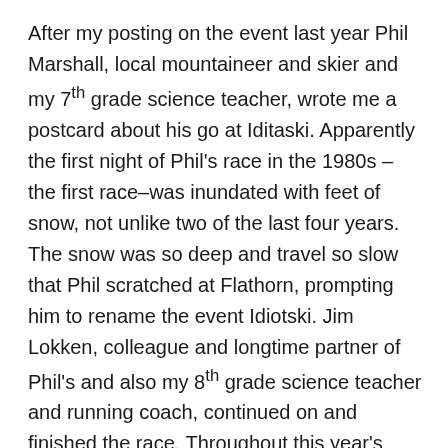After my posting on the event last year Phil Marshall, local mountaineer and skier and my 7th grade science teacher, wrote me a postcard about his go at Iditaski. Apparently the first night of Phil's race in the 1980s – the first race–was inundated with feet of snow, not unlike two of the last four years. The snow was so deep and travel so slow that Phil scratched at Flathorn, prompting him to rename the event Idiotski. Jim Lokken, colleague and longtime partner of Phil's and also my 8th grade science teacher and running coach, continued on and finished the race. Throughout this year's event I found myself invoking Marshall's Idiotski for poor to horrible trail conditions, then contrasted this extreme with the often near magical glide and fast travel. Idiotski or Mountain Sublime, quite the